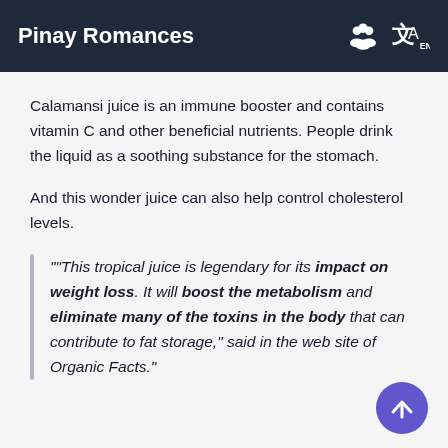Pinay Romances
Calamansi juice is an immune booster and contains vitamin C and other beneficial nutrients. People drink the liquid as a soothing substance for the stomach.
And this wonder juice can also help control cholesterol levels.
""This tropical juice is legendary for its impact on weight loss. It will boost the metabolism and eliminate many of the toxins in the body that can contribute to fat storage," said in the web site of Organic Facts."